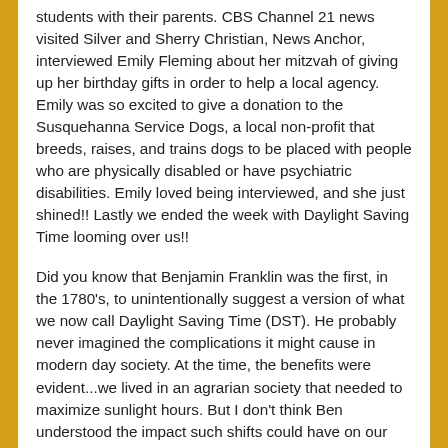students with their parents. CBS Channel 21 news visited Silver and Sherry Christian, News Anchor, interviewed Emily Fleming about her mitzvah of giving up her birthday gifts in order to help a local agency. Emily was so excited to give a donation to the Susquehanna Service Dogs, a local non-profit that breeds, raises, and trains dogs to be placed with people who are physically disabled or have psychiatric disabilities. Emily loved being interviewed, and she just shined!! Lastly we ended the week with Daylight Saving Time looming over us!!
Did you know that Benjamin Franklin was the first, in the 1780's, to unintentionally suggest a version of what we now call Daylight Saving Time (DST). He probably never imagined the complications it might cause in modern day society. At the time, the benefits were evident...we lived in an agrarian society that needed to maximize sunlight hours. But I don't think Ben understood the impact such shifts could have on our circadian rhythms, possibly stressing our mind and our body? But why, you may ask, am I discussing daylight savings time? Because the shift in time may be causing your children to get up earlier and not get the adequate sleep that they require...for at least a week or so, until they adjust. Fortunately, this is easy to 'fix'